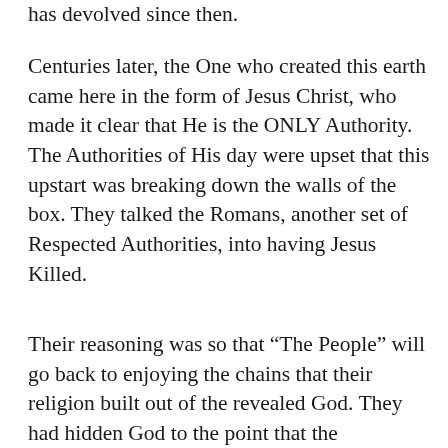has devolved since then.
Centuries later, the One who created this earth came here in the form of Jesus Christ, who made it clear that He is the ONLY Authority. The Authorities of His day were upset that this upstart was breaking down the walls of the box. They talked the Romans, another set of Respected Authorities, into having Jesus Killed.
Their reasoning was so that “The People” will go back to enjoying the chains that their religion built out of the revealed God. They had hidden God to the point that the